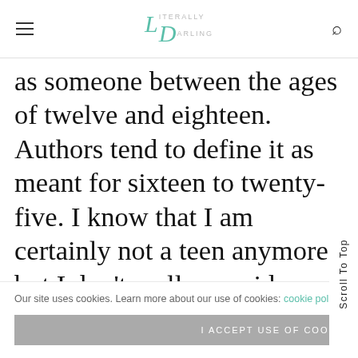Literally Darling
as someone between the ages of twelve and eighteen. Authors tend to define it as meant for sixteen to twenty-five. I know that I am certainly not a teen anymore, but I don't really consider myself an adult. of my Dickens and Doyle to Gaiman and Green.
Our site uses cookies. Learn more about our use of cookies: cookie policy
I ACCEPT USE OF COOKIES
Scroll To Top